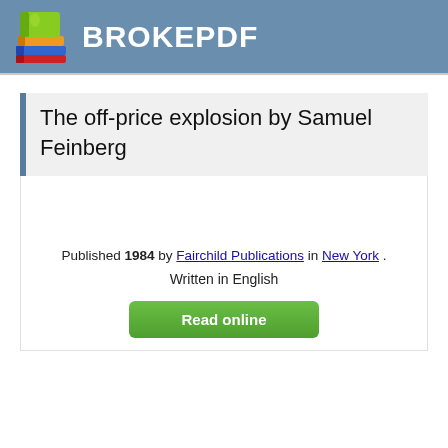BROKEPDF
The off-price explosion by Samuel Feinberg
Published 1984 by Fairchild Publications in New York .
Written in English
Read online